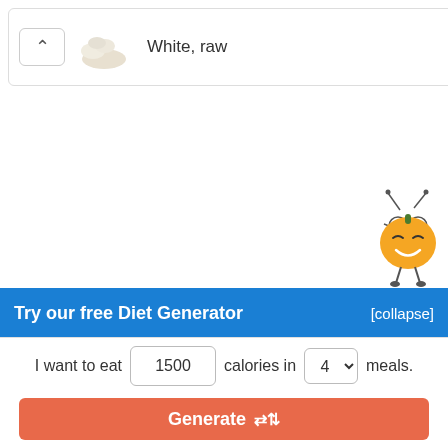White, raw
[Figure (illustration): Cartoon orange mascot character with a smiling face, glasses, green stem on top, and small legs]
Try our free Diet Generator
[collapse]
I want to eat 1500 calories in 4 meals.
Generate